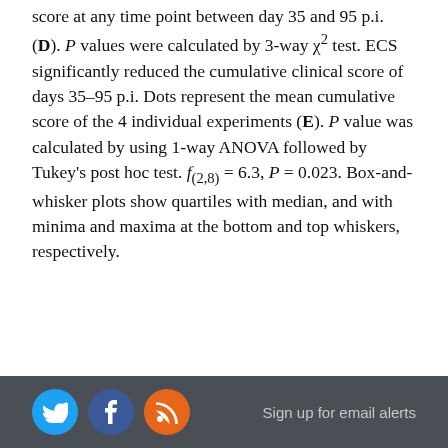score at any time point between day 35 and 95 p.i. (D). P values were calculated by 3-way χ² test. ECS significantly reduced the cumulative clinical score of days 35–95 p.i. Dots represent the mean cumulative score of the 4 individual experiments (E). P value was calculated by using 1-way ANOVA followed by Tukey's post hoc test. f(2,8) = 6.3, P = 0.023. Box-and-whisker plots show quartiles with median, and with minima and maxima at the bottom and top whiskers, respectively.
Sign up for email alerts